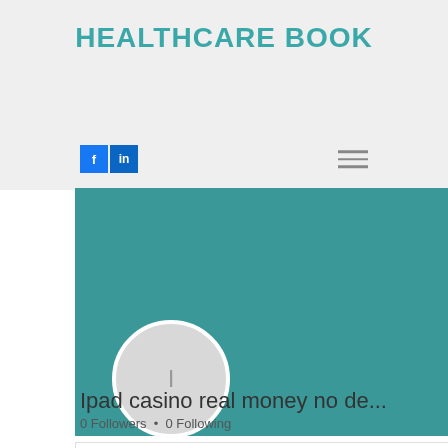HEALTHCARE BOOK
[Figure (screenshot): Social media icons: Facebook 'f' and LinkedIn 'in' logos, and hamburger menu icon]
[Figure (screenshot): Teal/green profile banner with Follow button and three-dot menu]
[Figure (illustration): Circular profile avatar with letter 'I']
Ipad casino real money no de...
0 Followers • 0 Following
[Figure (screenshot): White card with chevron/down arrow icon]